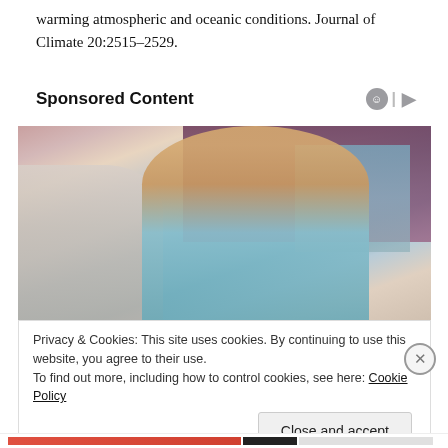warming atmospheric and oceanic conditions. Journal of Climate 20:2515–2529.
Sponsored Content
[Figure (photo): Photo of a smiling female nurse or healthcare worker in blue scrubs with a stethoscope, speaking with an elderly patient (visible from behind/side). Purple curtain and window visible in background.]
Privacy & Cookies: This site uses cookies. By continuing to use this website, you agree to their use.
To find out more, including how to control cookies, see here: Cookie Policy
Close and accept